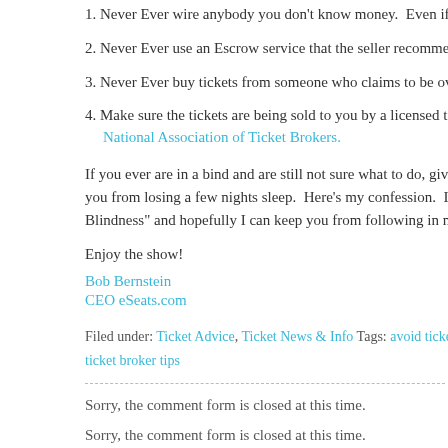1. Never Ever wire anybody you don't know money. Even if his name is G
2. Never Ever use an Escrow service that the seller recommends.
3. Never Ever buy tickets from someone who claims to be overseas and c
4. Make sure the tickets are being sold to you by a licensed ticket broker w National Association of Ticket Brokers.
If you ever are in a bind and are still not sure what to do, give me a call and ru you from losing a few nights sleep. Here's my confession. I have lost a few n Blindness" and hopefully I can keep you from following in my footsteps.
Enjoy the show!
Bob Bernstein
CEO eSeats.com
Filed under: Ticket Advice, Ticket News & Info Tags: avoid ticket scam, consum ticket broker tips
Sorry, the comment form is closed at this time.
Sorry, the comment form is closed at this time.